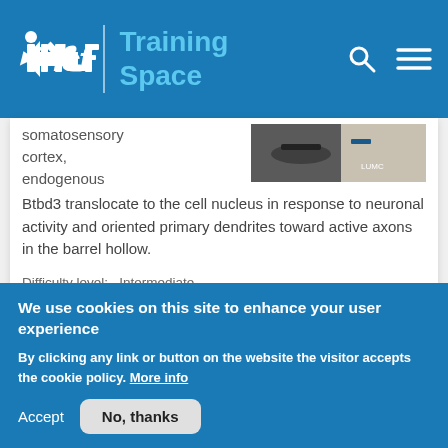INCF Training Space
[Figure (screenshot): Partial thumbnail of a video or image related to the training content, showing laboratory equipment.]
somatosensory cortex, endogenous Btbd3 translocate to the cell nucleus in response to neuronal activity and oriented primary dendrites toward active axons in the barrel hollow.
Difficulty level:   Intermediate
Duration: 27:32
Speaker: : Tomomi Shimogori
We use cookies on this site to enhance your user experience
By clicking any link or button on the website the visitor accepts the cookie policy. More info
Accept
No, thanks